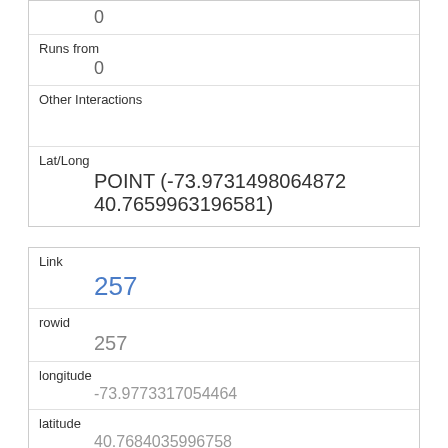|  | 0 |
| Runs from | 0 |
| Other Interactions |  |
| Lat/Long | POINT (-73.9731498064872 40.7659963196581) |
| Link | 257 |
| rowid | 257 |
| longitude | -73.9773317054464 |
| latitude | 40.7684035996758 |
| Unique Squirrel ID | 3D-AM-1006-03 |
| Hectare | 03D |